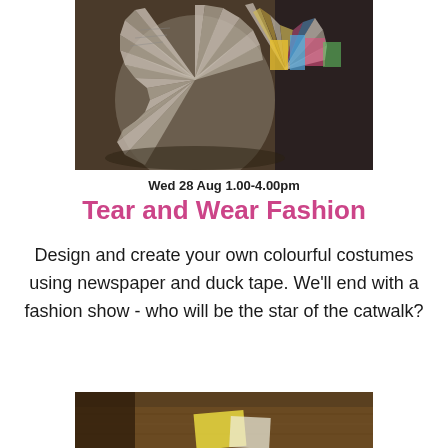[Figure (photo): Folded newspaper fans/rosettes arranged decoratively, photographed close-up]
Wed 28 Aug 1.00-4.00pm
Tear and Wear Fashion
Design and create your own colourful costumes using newspaper and duck tape. We'll end with a fashion show - who will be the star of the catwalk?
[Figure (photo): Bottom photograph showing a surface with paper, partial view]